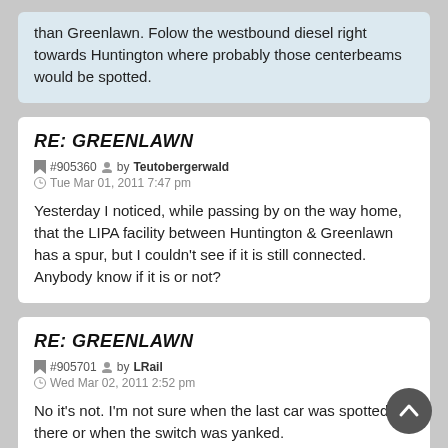than Greenlawn. Folow the westbound diesel right towards Huntington where probably those centerbeams would be spotted.
RE: GREENLAWN
#905360 by Teutobergerwald
Tue Mar 01, 2011 7:47 pm
Yesterday I noticed, while passing by on the way home, that the LIPA facility between Huntington & Greenlawn has a spur, but I couldn't see if it is still connected. Anybody know if it is or not?
RE: GREENLAWN
#905701 by LRail
Wed Mar 02, 2011 2:52 pm
No it's not. I'm not sure when the last car was spotted there or when the switch was yanked.